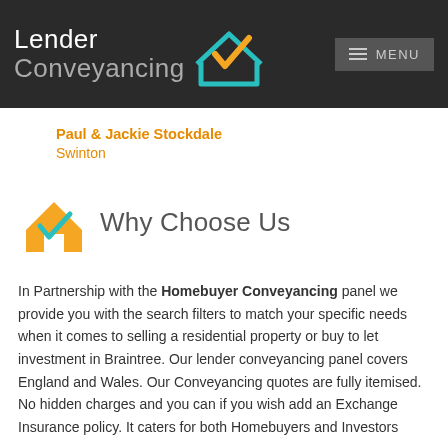Lender Conveyancing — MENU
Paul & Jackie Stockdale
Swinton
Why Choose Us
In Partnership with the Homebuyer Conveyancing panel we provide you with the search filters to match your specific needs when it comes to selling a residential property or buy to let investment in Braintree. Our lender conveyancing panel covers England and Wales. Our Conveyancing quotes are fully itemised. No hidden charges and you can if you wish add an Exchange Insurance policy. It caters for both Homebuyers and Investors